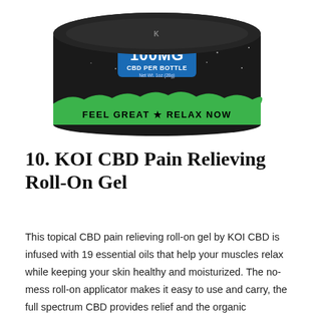[Figure (photo): Partial top view of a KOI CBD product jar with black lid and green label. Label reads '100MG CBD PER BOTTLE' and 'FEEL GREAT ★ RELAX NOW'.]
10. KOI CBD Pain Relieving Roll-On Gel
This topical CBD pain relieving roll-on gel by KOI CBD is infused with 19 essential oils that help your muscles relax while keeping your skin healthy and moisturized. The no-mess roll-on applicator makes it easy to use and carry, the full spectrum CBD provides relief and the organic ingredients help fight arthritis, strains, bruises, and sprains.